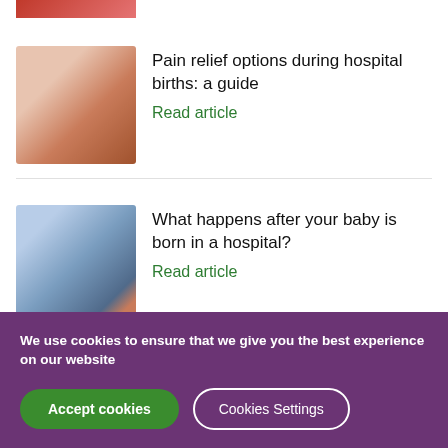[Figure (photo): Partial view of a red-toned image at top of page (cropped)]
[Figure (photo): Pregnant woman in blue top being supported, hospital setting]
Pain relief options during hospital births: a guide
Read article
[Figure (photo): Person holding a newborn baby outdoors]
What happens after your baby is born in a hospital?
Read article
We use cookies to ensure that we give you the best experience on our website